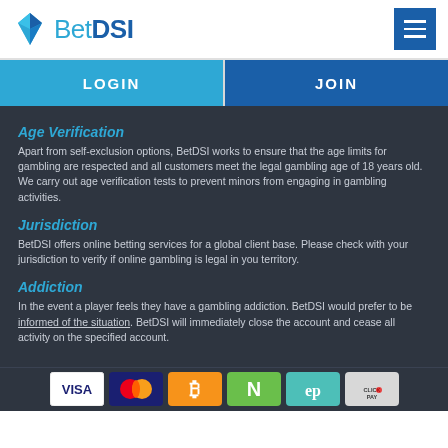BetDSI
LOGIN
JOIN
Age Verification
Apart from self-exclusion options, BetDSI works to ensure that the age limits for gambling are respected and all customers meet the legal gambling age of 18 years old. We carry out age verification tests to prevent minors from engaging in gambling activities.
Jurisdiction
BetDSI offers online betting services for a global client base. Please check with your jurisdiction to verify if online gambling is legal in you territory.
Addiction
In the event a player feels they have a gambling addiction. BetDSI would prefer to be informed of the situation. BetDSI will immediately close the account and cease all activity on the specified account.
[Figure (logo): Payment method icons: VISA, Mastercard, Bitcoin, Neteller, ecoPayz, ClickandPay]